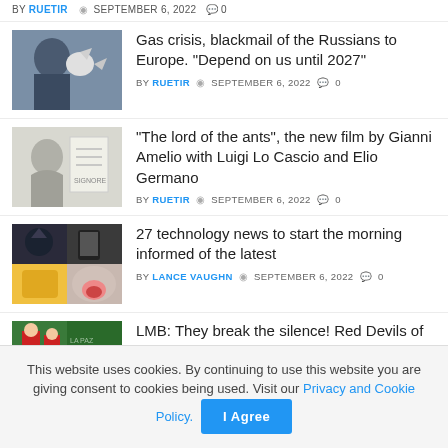BY RUETIR  SEPTEMBER 6, 2022  0
Gas crisis, blackmail of the Russians to Europe. “Depend on us until 2027” BY RUETIR SEPTEMBER 6, 2022 0
“The lord of the ants”, the new film by Gianni Amelio with Luigi Lo Cascio and Elio Germano BY RUETIR SEPTEMBER 6, 2022 0
27 technology news to start the morning informed of the latest BY LANCE VAUGHN SEPTEMBER 6, 2022 0
LMB: They break the silence! Red Devils of Mexico deny manipulation of cameras
This website uses cookies. By continuing to use this website you are giving consent to cookies being used. Visit our Privacy and Cookie Policy.